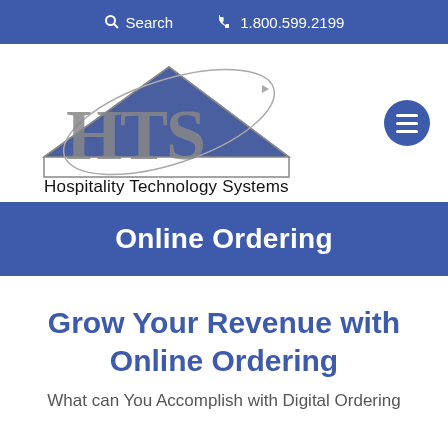Search   1.800.599.2199
[Figure (logo): HTS Hospitality Technology Systems logo with house/triangle shape and orbital arc graphic, text reads 'Hospitality Technology Systems']
Online Ordering
Grow Your Revenue with Online Ordering
What can You Accomplish with Digital Ordering